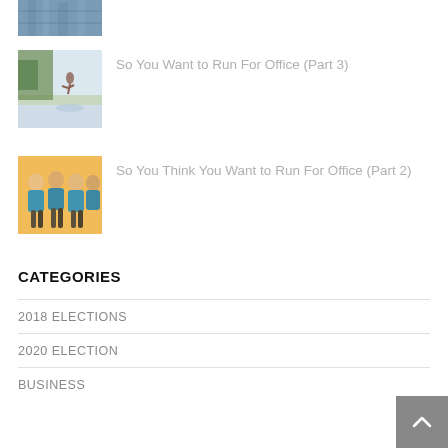[Figure (photo): Partial view of a building interior thumbnail at top]
[Figure (photo): Person jumping/diving from a height near trees thumbnail]
So You Want to Run For Office (Part 3)
[Figure (photo): Group of volunteers in blue shirts thumbnail]
So You Think You Want to Run For Office (Part 2)
CATEGORIES
2018 ELECTIONS
2020 ELECTION
BUSINESS